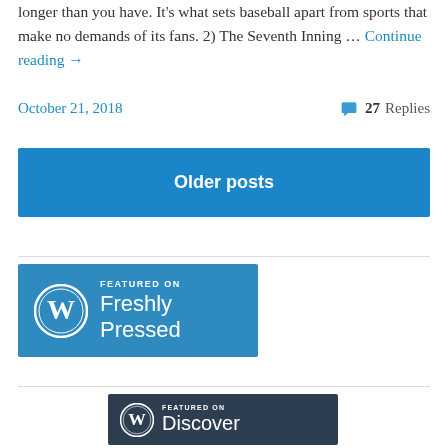longer than you have. It's what sets baseball apart from sports that make no demands of its fans. 2) The Seventh Inning … Continue reading →
October 21, 2018    27 Replies
Older posts
[Figure (logo): WordPress Featured on Freshly Pressed badge - blue background with WordPress logo and text]
[Figure (logo): WordPress Featured on Discover badge - dark navy background with WordPress logo and text]